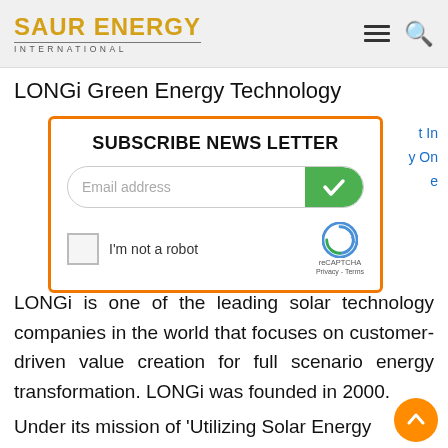SAUR ENERGY INTERNATIONAL
LONGi Green Energy Technology
[Figure (screenshot): Newsletter subscription modal with orange border, email address input field, green checkmark submit button, reCAPTCHA 'I'm not a robot' checkbox]
LONGi is one of the leading solar technology companies in the world that focuses on customer-driven value creation for full scenario energy transformation. LONGi was founded in 2000.
Under its mission of 'Utilizing Solar Energy